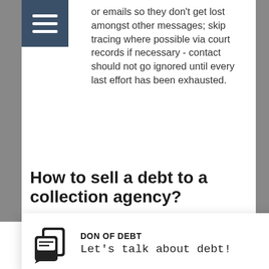or emails so they don't get lost amongst other messages; skip tracing where possible via court records if necessary - contact should not go ignored until every last effort has been exhausted.
How to sell a debt to a collection agency?
The process is simple you first have to gather all your debts in a secured excel file. then make sure you have all the
[Figure (screenshot): Don of Debt chat notification popup showing icon, title 'DON OF DEBT' and message 'Let's talk about debt!']
[Figure (screenshot): Chat button with notification badge showing '1']
Home   Blog   Call Me   Contact